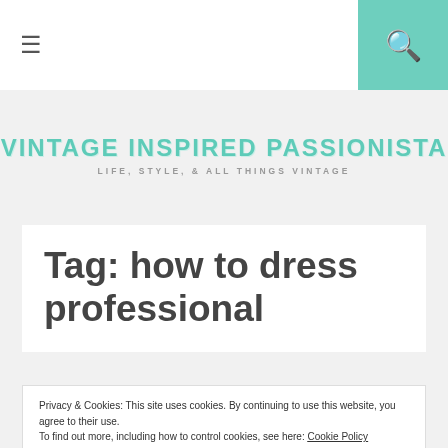≡  [search icon]
[Figure (logo): Vintage Inspired Passionista logo with teal art-deco lettering and subtitle: Life, Style, & All Things Vintage]
Tag: how to dress professional
Privacy & Cookies: This site uses cookies. By continuing to use this website, you agree to their use. To find out more, including how to control cookies, see here: Cookie Policy
Close and accept
Sweater: Outfit #2